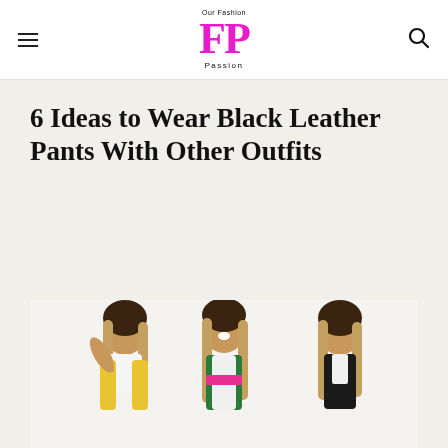Our Fashion Passion [logo with hamburger menu and search icon]
6 Ideas to Wear Black Leather Pants With Other Outfits
[Figure (photo): Three women posing in fashion outfits; left and center women wearing colorful jackets (green, yellow, pink) with long highlighted hair, right woman wearing black outfit with long highlighted hair, white background]